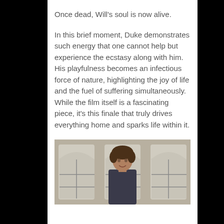Once dead, Will's soul is now alive.
In this brief moment, Duke demonstrates such energy that one cannot help but experience the ecstasy along with him. His playfulness becomes an infectious force of nature, highlighting the joy of life and the fuel of suffering simultaneously. While the film itself is a fascinating piece, it's this finale that truly drives everything home and sparks life within it.
[Figure (photo): A man with curly hair standing in front of large arched windows with a slight smile, wearing a dark jacket. The windows appear to be in a grand interior space with ornate frames.]